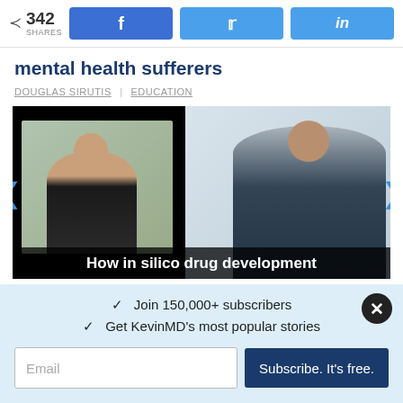342 SHARES
mental health sufferers
DOUGLAS SIRUTIS | EDUCATION
[Figure (screenshot): Video thumbnail showing two people in a split-screen video call, with caption text 'How in silico drug development' overlaid at the bottom on a black background.]
✓  Join 150,000+ subscribers
✓  Get KevinMD's most popular stories
Email  Subscribe. It's free.